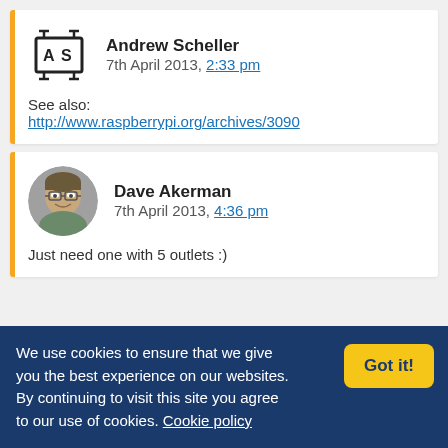Andrew Scheller
7th April 2013, 2:33 pm
See also:
http://www.raspberrypi.org/archives/3090
Dave Akerman
7th April 2013, 4:36 pm
Just need one with 5 outlets :)
We use cookies to ensure that we give you the best experience on our websites. By continuing to visit this site you agree to our use of cookies. Cookie policy